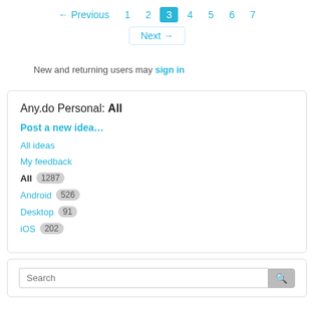← Previous  1  2  3  4  5  6  7
Next →
New and returning users may sign in
Any.do Personal: All
Post a new idea...
All ideas
My feedback
All 1287
Android 526
Desktop 91
iOS 202
Search